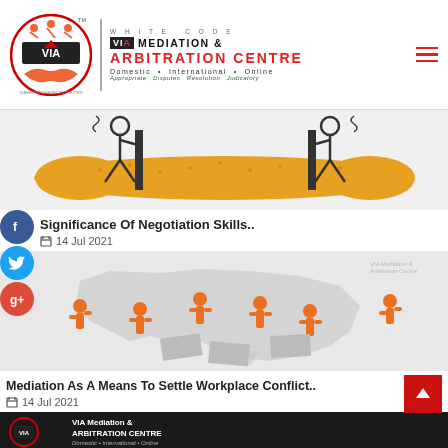[Figure (logo): White Code VIA Mediation & Arbitration Centre logo with circular icon showing handshake, red text for ARBITRATION CENTRE, tagline: Appropriate Disputes Resolution Judicatory]
[Figure (illustration): Two stick figures pulling on opposite ends of a gold/orange object, depicting negotiation or tug-of-war]
Significance Of Negotiation Skills..
14 Jul 2021
[Figure (illustration): Orange figurines arranged on a grey map of India, depicting mediation in workplace conflicts across India]
Mediation As A Means To Settle Workplace Conflict..
14 Jul 2021
[Figure (illustration): Partial image showing bottom of page with VIA Mediation & Arbitration Centre branding]